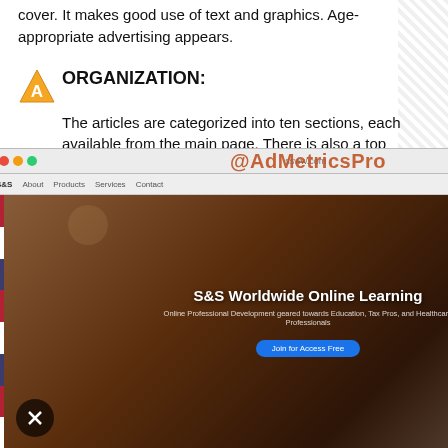cover. It makes good use of text and graphics. Age-appropriate advertising appears.
ORGANIZATION:
The articles are categorized into ten sections, each available from the main page. There is also a top navigation menu on the internal pages, making navigation easy. An online search tool provides quick access to specific topics.
REVIEW:
Planning for college and career can be a frightening and mind-boggling experience for any teenager. Next Step Magazine features articles on all aspects of this important transition period. archived for conti will find articles on welder. For those articles on every t habits to time ma available. If that i
[Figure (screenshot): AdMetricsPro watermark overlay with S&S Worldwide Online Learning advertisement screenshot showing a website with navigation bar and promotional content]